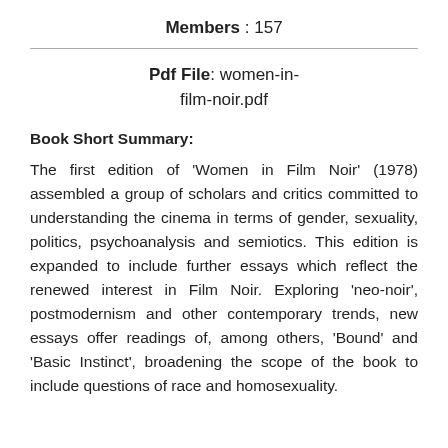Members : 157
Pdf File: women-in-film-noir.pdf
Book Short Summary:
The first edition of 'Women in Film Noir' (1978) assembled a group of scholars and critics committed to understanding the cinema in terms of gender, sexuality, politics, psychoanalysis and semiotics. This edition is expanded to include further essays which reflect the renewed interest in Film Noir. Exploring 'neo-noir', postmodernism and other contemporary trends, new essays offer readings of, among others, 'Bound' and 'Basic Instinct', broadening the scope of the book to include questions of race and homosexuality.